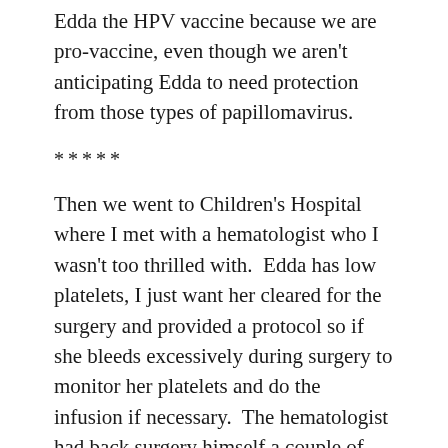Edda the HPV vaccine because we are pro-vaccine, even though we aren't anticipating Edda to need protection from those types of papillomavirus.
*****
Then we went to Children's Hospital where I met with a hematologist who I wasn't too thrilled with.  Edda has low platelets, I just want her cleared for the surgery and provided a protocol so if she bleeds excessively during surgery to monitor her platelets and do the infusion if necessary.  The hematologist had back surgery himself a couple of years ago and had to take a bunch of time off work and he told me – Edda's surgery is going to be so